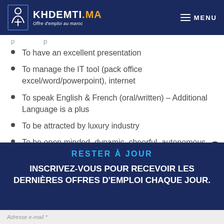KHDEMTI.MA — Offre d'emploi au maroc | MENU
To have an excellent presentation
To manage the IT tool (pack office excel/word/powerpoint), internet
To speak English & French (oral/written) – Additional Language is a plus
To be attracted by luxury industry
To be open minded, dynamic, cheerful, autonomous
RESTER À JOUR
INSCRIVEZ-VOUS POUR RECEVOIR LES DERNIÈRES OFFRES D'EMPLOI CHAQUE JOUR.